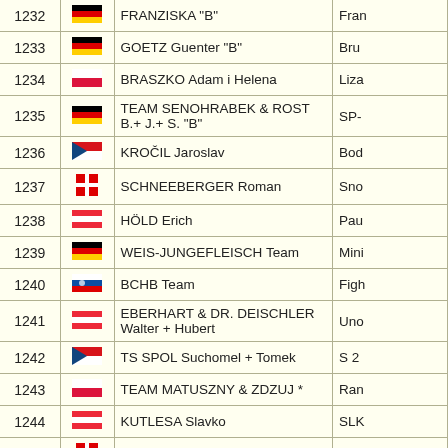| # | Flag | Name | Info |
| --- | --- | --- | --- |
| 1232 | DE | FRANZISKA "B" | Fran |
| 1233 | DE | GOETZ Guenter "B" | Bru |
| 1234 | PL | BRASZKO Adam i Helena | Liza |
| 1235 | DE | TEAM SENOHRABEK & ROST B.+ J.+ S. "B" | SP- |
| 1236 | CZ | KROČIL Jaroslav | Bod |
| 1237 | CH | SCHNEEBERGER Roman | Sno |
| 1238 | AT | HÖLD Erich | Pau |
| 1239 | DE | WEIS-JUNGEFLEISCH Team | Mini |
| 1240 | SK | BCHB Team | Figh |
| 1241 | AT | EBERHART & DR. DEISCHLER Walter + Hubert | Uno |
| 1242 | CZ | TS SPOL Suchomel + Tomek | S 2 |
| 1243 | PL | TEAM MATUSZNY & ZDZUJ * | Ran |
| 1244 | AT | KUTLESA Slavko | SLK |
| 1245 | CH | TEAM ANDERHUB | Avia |
| 1246 | PL | WRÓBEL Michal & Patryk "C" | Ai |
| 1247 | PL | MICHALAK Bogdan | Niu |
| 1248 | CZ | REIN Jan "A" | Kali |
| 1249 | CZ | ACADEMY LOFT "B" | Aca |
| 1250 | CZ | VIKTORÍN Lukáš | Ton |